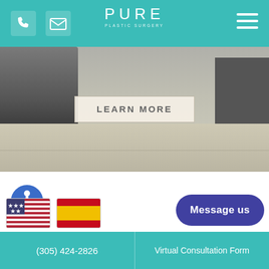Pure Plastic Surgery - navigation bar with phone, email, logo, hamburger menu
[Figure (photo): Hero photo showing feet and shoes of people standing on a pavement/sidewalk, with a 'LEARN MORE' button overlay in the center]
[Figure (illustration): Blue circular accessibility icon with a person figure in white]
[Figure (illustration): US flag icon]
[Figure (illustration): Spanish flag icon]
Message us
(305) 424-2826 | Virtual Consultation Form